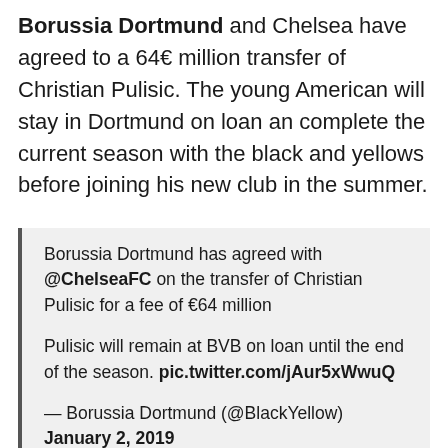Borussia Dortmund and Chelsea have agreed to a 64€ million transfer of Christian Pulisic. The young American will stay in Dortmund on loan an complete the current season with the black and yellows before joining his new club in the summer.
Borussia Dortmund has agreed with @ChelseaFC on the transfer of Christian Pulisic for a fee of €64 million

Pulisic will remain at BVB on loan until the end of the season. pic.twitter.com/jAur5xWwuQ

— Borussia Dortmund (@BlackYellow) January 2, 2019